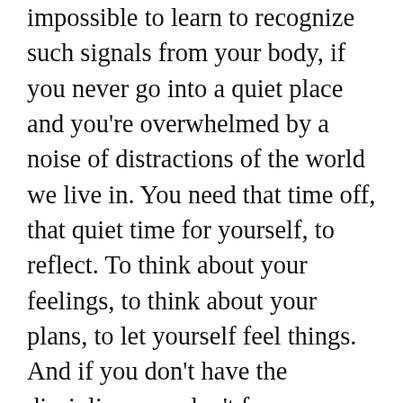impossible to learn to recognize such signals from your body, if you never go into a quiet place and you're overwhelmed by a noise of distractions of the world we live in. You need that time off, that quiet time for yourself, to reflect. To think about your feelings, to think about your plans, to let yourself feel things. And if you don't have the discipline, you don't focus on getting the work done when you're in the office, you won't get that quiet time for self-reflection. You'll be to stressed out and too busy.
That's how complex we are. One thing that's off and dysfunctional can put our whole life into jeopardy. That's why I never create blog posts